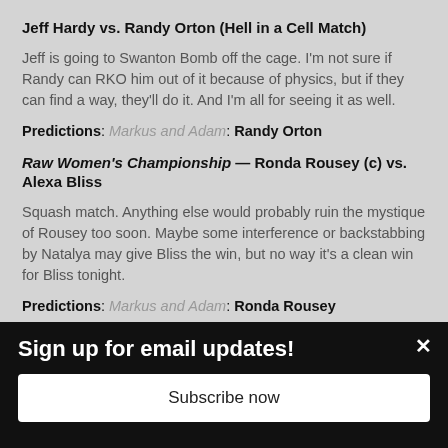Jeff Hardy vs. Randy Orton (Hell in a Cell Match)
Jeff is going to Swanton Bomb off the cage. I'm not sure if Randy can RKO him out of it because of physics, but if they can find a way, they'll do it. And I'm all for seeing it as well.
Predictions: Markus and Adam: Randy Orton
Raw Women's Championship — Ronda Rousey (c) vs. Alexa Bliss
Squash match. Anything else would probably ruin the mystique of Rousey too soon. Maybe some interference or backstabbing by Natalya may give Bliss the win, but no way it's a clean win for Bliss tonight.
Predictions: Markus and Adam: Ronda Rousey
Sign up for email updates!
Subscribe now